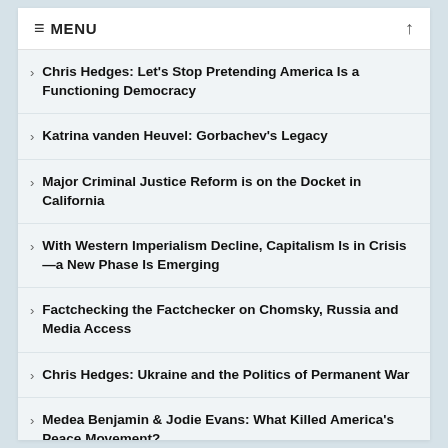≡ MENU
Chris Hedges: Let's Stop Pretending America Is a Functioning Democracy
Katrina vanden Heuvel: Gorbachev's Legacy
Major Criminal Justice Reform is on the Docket in California
With Western Imperialism Decline, Capitalism Is in Crisis—a New Phase Is Emerging
Factchecking the Factchecker on Chomsky, Russia and Media Access
Chris Hedges: Ukraine and the Politics of Permanent War
Medea Benjamin & Jodie Evans: What Killed America's Peace Movement?